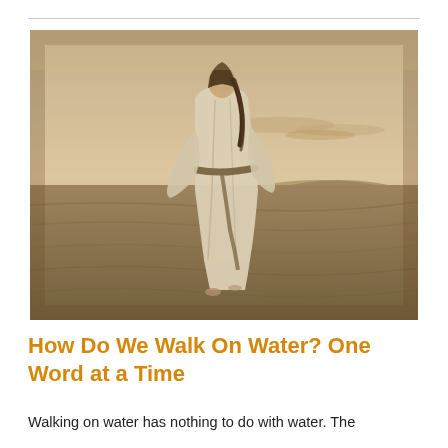[Figure (photo): A person dressed in white robes with a dark belt, viewed from behind, walking on water with a hazy sepia-toned landscape and hills in the background. The image has a vintage, textured quality with warm golden-brown tones.]
How Do We Walk On Water? One Word at a Time
Walking on water has nothing to do with water. The